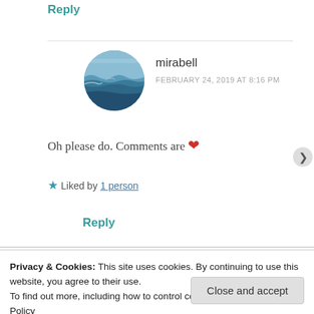Reply
[Figure (photo): Circular avatar photo showing ocean waves and horizon]
mirabell
FEBRUARY 24, 2019 AT 8:16 PM
Oh please do. Comments are ❤
★ Liked by 1 person
Reply
Privacy & Cookies: This site uses cookies. By continuing to use this website, you agree to their use.
To find out more, including how to control cookies, see here: Cookie Policy